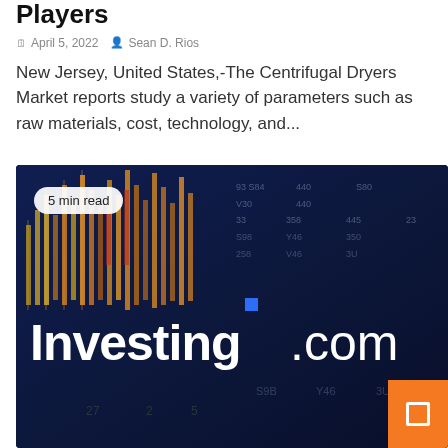Players
April 5, 2022  Sean D. Rios
New Jersey, United States,-The Centrifugal Dryers Market reports study a variety of parameters such as raw materials, cost, technology, and...
[Figure (photo): Dark financial market background with candlestick chart data and Investing.com logo in white bold text, with a small blue square above the 'i', and an orange button in the bottom right corner. A '5 min read' badge appears in the top left.]